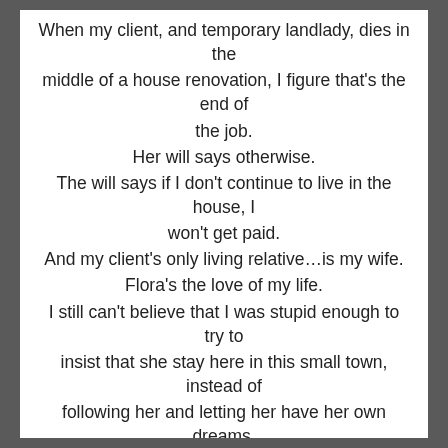When my client, and temporary landlady, dies in the middle of a house renovation, I figure that's the end of the job. Her will says otherwise. The will says if I don't continue to live in the house, I won't get paid. And my client's only living relative…is my wife. Flora's the love of my life. I still can't believe that I was stupid enough to try to insist that she stay here in this small town, instead of following her and letting her have her own dreams. I've regretted it ever since. Flora won't listen to my apologies. Maybe now I've got the chance to start over with her…
This February, you're officially invited to attend a month-long celebration of love!